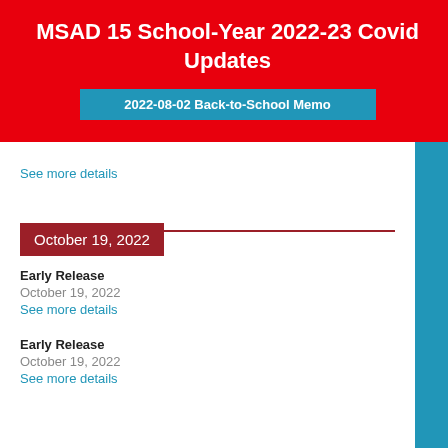MSAD 15 School-Year 2022-23 Covid Updates
2022-08-02 Back-to-School Memo
See more details
October 19, 2022
Early Release
October 19, 2022
See more details
Early Release
October 19, 2022
See more details